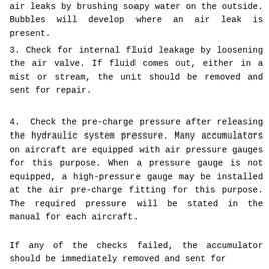air leaks by brushing soapy water on the outside. Bubbles will develop where an air leak is present.
3. Check for internal fluid leakage by loosening the air valve. If fluid comes out, either in a mist or stream, the unit should be removed and sent for repair.
4. Check the pre-charge pressure after releasing the hydraulic system pressure. Many accumulators on aircraft are equipped with air pressure gauges for this purpose. When a pressure gauge is not equipped, a high-pressure gauge may be installed at the air pre-charge fitting for this purpose. The required pressure will be stated in the manual for each aircraft.
If any of the checks failed, the accumulator should be immediately removed and sent for